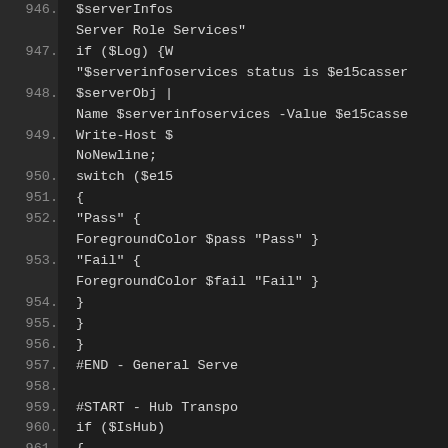[Figure (screenshot): Code editor screenshot showing PowerShell script lines 946–961 with dark background. Line numbers on left, code truncated on right. Content includes server info services, logging, switch statements for Pass/Fail, and Hub Transport section start.]